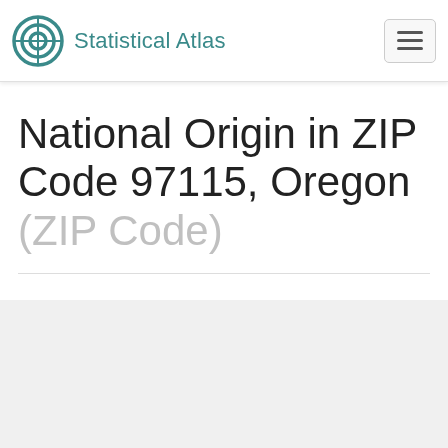Statistical Atlas
National Origin in ZIP Code 97115, Oregon (ZIP Code)